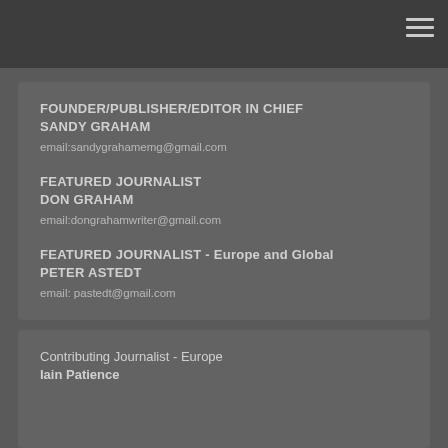FOUNDER/PUBLISHER/EDITOR IN CHIEF
SANDY GRAHAM
email:sandygrahamemg@gmail.com
FEATURED JOURNALIST
DON GRAHAM
email:dongrahamwriter@gmail.com
FEATURED JOURNALIST - Europe and Global
PETER ASTEDT
email: pastedt@gmail.com
Contributing Journalist - Europe
Iain Patience